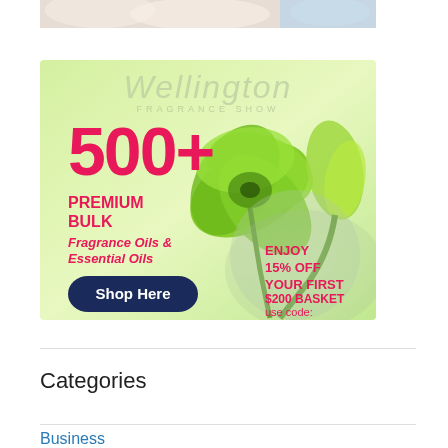[Figure (photo): Partial top image strip showing what appears to be soap or cosmetic products]
[Figure (illustration): Wellington Fragrance Show advertisement banner. Green background with tropical flower illustration. Text: Wellington FRAGRANCE SHOW, 500+, PREMIUM BULK Fragrance Oils & Essential Oils, Shop Here button, ENJOY 15% OFF YOUR FIRST $200 BASKET use code: MakingSOap]
Categories
Business